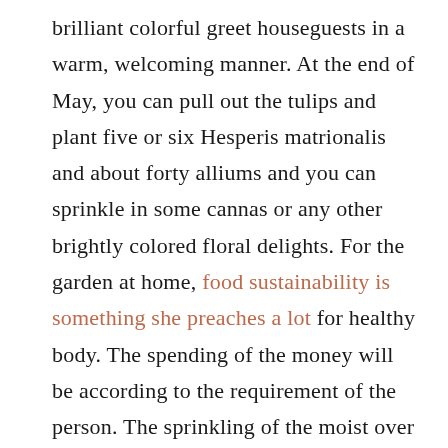brilliant colorful greet houseguests in a warm, welcoming manner. At the end of May, you can pull out the tulips and plant five or six Hesperis matrionalis and about forty alliums and you can sprinkle in some cannas or any other brightly colored floral delights. For the garden at home, food sustainability is something she preaches a lot for healthy body. The spending of the money will be according to the requirement of the person. The sprinkling of the moist over the plants will be effective for the development.